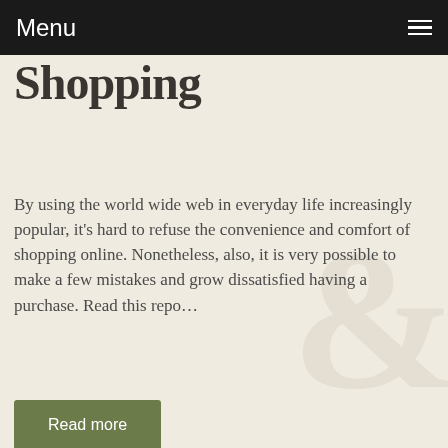Menu
Shopping
By using the world wide web in everyday life increasingly popular, it's hard to refuse the convenience and comfort of shopping online. Nonetheless, also, it is very possible to make a few mistakes and grow dissatisfied having a purchase. Read this repo…
Read more
0 comments  Posted in General  Tags see more
DO YOU WANT A CARPET